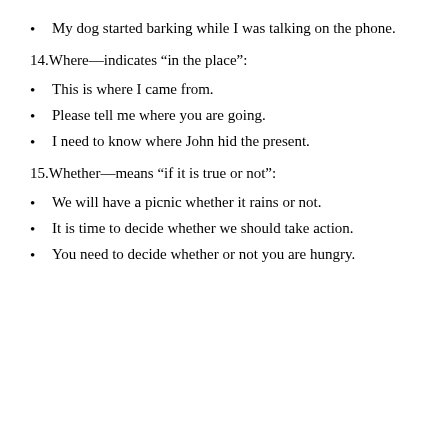My dog started barking while I was talking on the phone.
14.Where—indicates “in the place”:
This is where I came from.
Please tell me where you are going.
I need to know where John hid the present.
15.Whether—means “if it is true or not”:
We will have a picnic whether it rains or not.
It is time to decide whether we should take action.
You need to decide whether or not you are hungry.